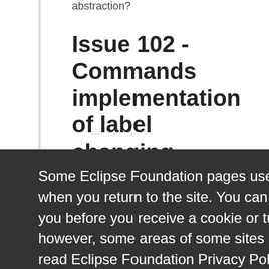abstraction?
Issue 102 - Commands implementation of label changing
Some Eclipse Foundation pages use cookies to better serve you when you return to the site. You can set your browser to notify you before you receive a cookie or turn off cookies. If you do so, however, some areas of some sites may not function properly. To read Eclipse Foundation Privacy Policy click here.
Decline
Allow cookies
</extension>